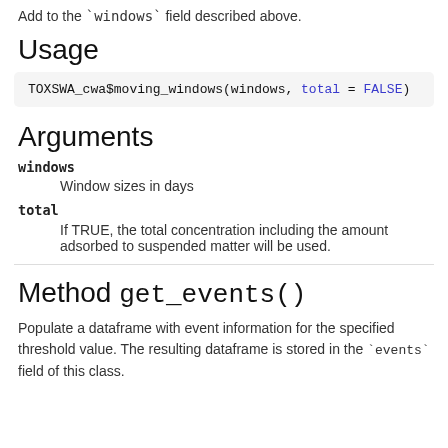Add to the `windows` field described above.
Usage
TOXSWA_cwa$moving_windows(windows, total = FALSE)
Arguments
windows
    Window sizes in days
total
    If TRUE, the total concentration including the amount adsorbed to suspended matter will be used.
Method get_events()
Populate a dataframe with event information for the specified threshold value. The resulting dataframe is stored in the `events` field of this class.